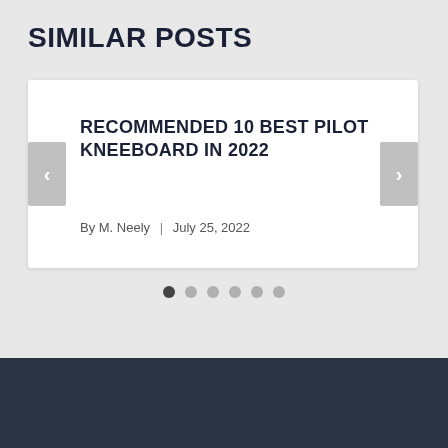SIMILAR POSTS
RECOMMENDED 10 BEST PILOT KNEEBOARD IN 2022
By M. Neely  |  July 25, 2022
© 2022 Wealthy Hostage Store | All rights reserved. Wealthyhostagestore.com is a participant in the Amazon Services